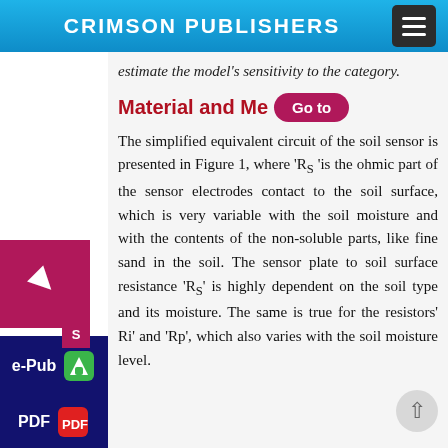CRIMSON PUBLISHERS
estimate the model's sensitivity to the category.
Material and Me
The simplified equivalent circuit of the soil sensor is presented in Figure 1, where 'R_S 'is the ohmic part of the sensor electrodes contact to the soil surface, which is very variable with the soil moisture and with the contents of the non-soluble parts, like fine sand in the soil. The sensor plate to soil surface resistance 'R_S' is highly dependent on the soil type and its moisture. The same is true for the resistors' Ri' and 'Rp', which also varies with the soil moisture level.